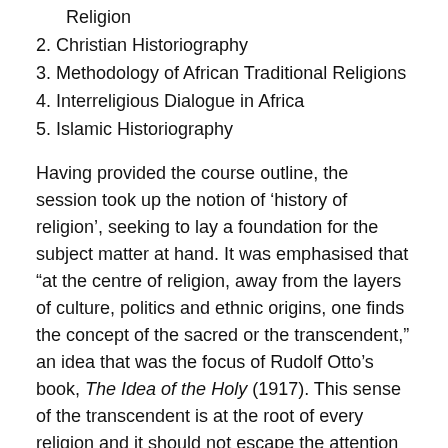Religion
2. Christian Historiography
3. Methodology of African Traditional Religions
4. Interreligious Dialogue in Africa
5. Islamic Historiography
Having provided the course outline, the session took up the notion of ‘history of religion’, seeking to lay a foundation for the subject matter at hand. It was emphasised that “at the centre of religion, away from the layers of culture, politics and ethnic origins, one finds the concept of the sacred or the transcendent,” an idea that was the focus of Rudolf Otto’s book, The Idea of the Holy (1917). This sense of the transcendent is at the root of every religion and it should not escape the attention of the historian of religion. The historian is urged to avoid a skewed perspective, especially at the hands of regional, geographical, cultural or ethnic bias; to